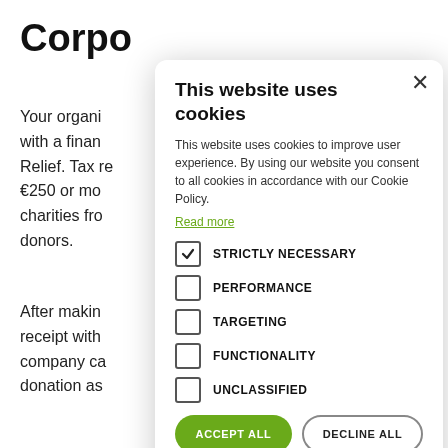Corpo
Your organi with a finan Relief. Tax re €250 or mo charities fro donors.
After makin receipt with company ca donation as
[Figure (screenshot): Cookie consent modal dialog. Title: 'This website uses cookies'. Body text: 'This website uses cookies to improve user experience. By using our website you consent to all cookies in accordance with our Cookie Policy.' Link: 'Read more'. Checkboxes: STRICTLY NECESSARY (checked), PERFORMANCE (unchecked), TARGETING (unchecked), FUNCTIONALITY (unchecked), UNCLASSIFIED (unchecked). Buttons: ACCEPT ALL (green), DECLINE ALL (outline). Show Details link with gear icon.]